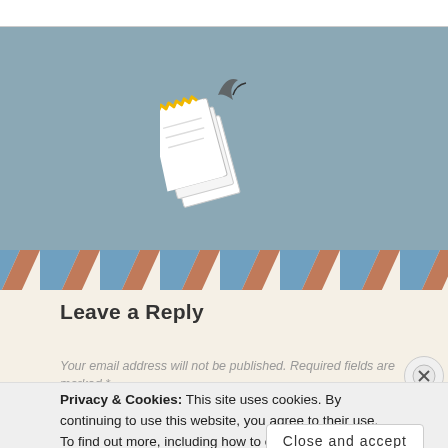[Figure (illustration): Blue-grey background with a torn/ripped letter/envelope mail icon illustration in the center, with white paper and yellow zigzag torn edge, and a small bird/arrow mark at top]
[Figure (illustration): Diagonal stripe border in blue, terracotta/rust, and white diagonal stripes forming the top border of an envelope-style form section]
Leave a Reply
Your email address will not be published. Required fields are marked *
Privacy & Cookies: This site uses cookies. By continuing to use this website, you agree to their use.
To find out more, including how to control cookies, see here: Cookie Policy
Close and accept